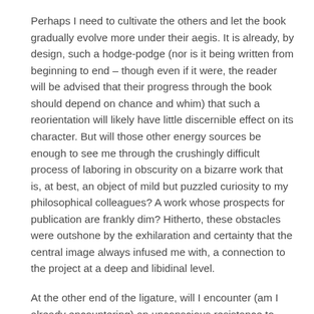Perhaps I need to cultivate the others and let the book gradually evolve more under their aegis. It is already, by design, such a hodge-podge (nor is it being written from beginning to end – though even if it were, the reader will be advised that their progress through the book should depend on chance and whim) that such a reorientation will likely have little discernible effect on its character. But will those other energy sources be enough to see me through the crushingly difficult process of laboring in obscurity on a bizarre work that is, at best, an object of mild but puzzled curiosity to my philosophical colleagues? A work whose prospects for publication are frankly dim? Hitherto, these obstacles were outshone by the exhilaration and certainty that the central image always infused me with, a connection to the project at a deep and libidinal level.
At the other end of the ligature, will I encounter (am I already encountering) an unconscious resistance to